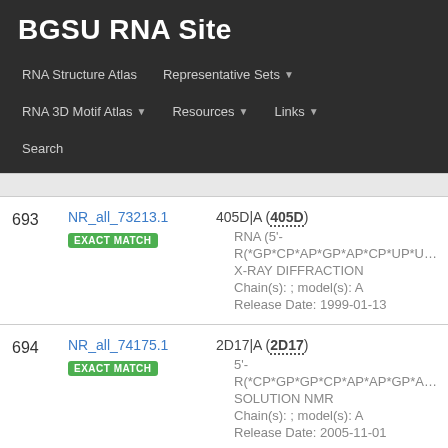BGSU RNA Site
RNA Structure Atlas | Representative Sets | RNA 3D Motif Atlas | Resources | Links | Search
| # | ID | Info |
| --- | --- | --- |
| 693 | NR_all_73213.1
EXACT MATCH | 405D|A (405D)
• RNA (5'-
R(*GP*CP*AP*GP*AP*CP*UP*UP*AP*AP...
• X-RAY DIFFRACTION
• Chain(s): ; model(s): A
• Release Date: 1999-01-13 |
| 694 | NR_all_74175.1
EXACT MATCH | 2D17|A (2D17)
• 5'-
R(*CP*GP*GP*CP*AP*AP*GP*AP*GP*G...
• SOLUTION NMR
• Chain(s): ; model(s): A
• Release Date: 2005-11-01 |